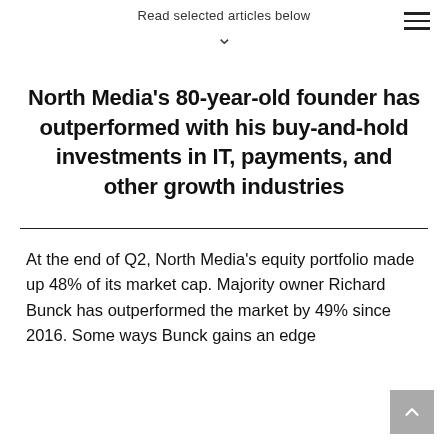Read selected articles below
North Media's 80-year-old founder has outperformed with his buy-and-hold investments in IT, payments, and other growth industries
At the end of Q2, North Media's equity portfolio made up 48% of its market cap. Majority owner Richard Bunck has outperformed the market by 49% since 2016. Some ways Bunck gains an edge